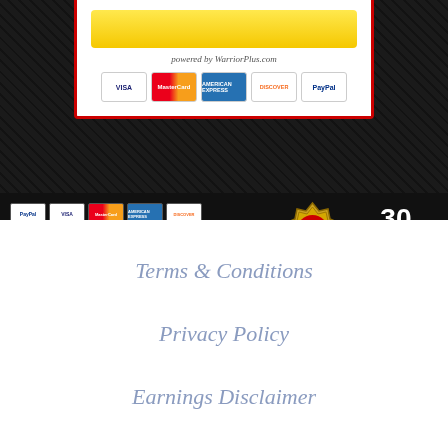[Figure (other): Payment checkout card with yellow button, 'powered by WarriorPlus.com' text, and credit card icons (VISA, MasterCard, American Express, Discover, PayPal) on dark textured background]
[Figure (other): Payment icons row (PayPal, VISA, MasterCard, American Express, Discover) with WARNING text 'Price Jumps As Soon As The Timer Runs Out!', a 100% Guarantee badge, and '30 Days Money Back GUARANTEE' text on dark background]
Terms & Conditions
Privacy Policy
Earnings Disclaimer